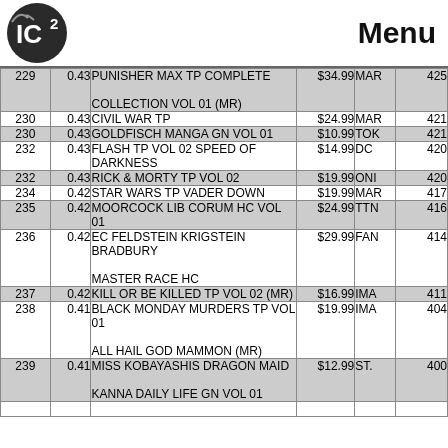ICV2 Menu
| Rank | Ratio | Title | Price | Pub | Units |
| --- | --- | --- | --- | --- | --- |
| 229 | 0.43 | PUNISHER MAX TP COMPLETE COLLECTION VOL 01 (MR) | $34.99 | MAR | 425 |
| 230 | 0.43 | CIVIL WAR TP | $24.99 | MAR | 421 |
| 230 | 0.43 | GOLDFISCH MANGA GN VOL 01 | $10.99 | TOK | 421 |
| 232 | 0.43 | FLASH TP VOL 02 SPEED OF DARKNESS | $14.99 | DC | 420 |
| 232 | 0.43 | RICK & MORTY TP VOL 02 | $19.99 | ONI | 420 |
| 234 | 0.42 | STAR WARS TP VADER DOWN | $19.99 | MAR | 417 |
| 235 | 0.42 | MOORCOCK LIB CORUM HC VOL 01 | $24.99 | TTN | 416 |
| 236 | 0.42 | EC FELDSTEIN KRIGSTEIN BRADBURY MASTER RACE HC | $29.99 | FAN | 414 |
| 237 | 0.42 | KILL OR BE KILLED TP VOL 02 (MR) | $16.99 | IMA | 411 |
| 238 | 0.41 | BLACK MONDAY MURDERS TP VOL 01 ALL HAIL GOD MAMMON (MR) | $19.99 | IMA | 404 |
| 239 | 0.41 | MISS KOBAYASHIS DRAGON MAID KANNA DAILY LIFE GN VOL 01 | $12.99 | ST. | 400 |